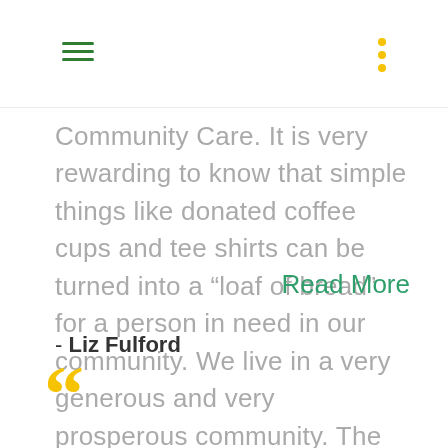[Navigation header with hamburger menu and dots menu]
Community Care. It is very rewarding to know that simple things like donated coffee cups and tee shirts can be turned into a “loaf of bread” for a person in need in our community. We live in a very generous and very prosperous community. The amount of donations and…
Read More
- Liz Fulford
[Figure (illustration): Yellow opening quotation marks decorative element]